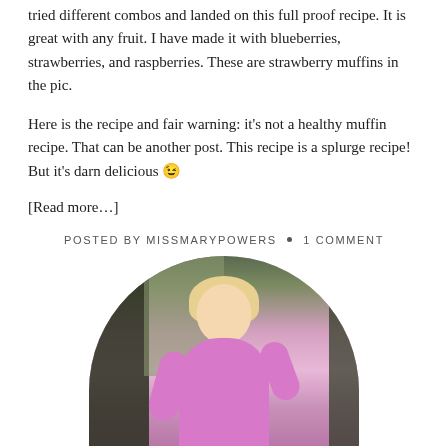tried different combos and landed on this full proof recipe. It is great with any fruit. I have made it with blueberries, strawberries, and raspberries. These are strawberry muffins in the pic.
Here is the recipe and fair warning: it's not a healthy muffin recipe. That can be another post. This recipe is a splurge recipe! But it's darn delicious 😉
[Read more…]
POSTED BY MISSMARYPOWERS • 1 COMMENT
[Figure (photo): A smiling blonde woman wearing a pink off-shoulder sweater, photographed outdoors with a blurred background. The photo is cropped in a semicircle shape at the bottom of the page.]